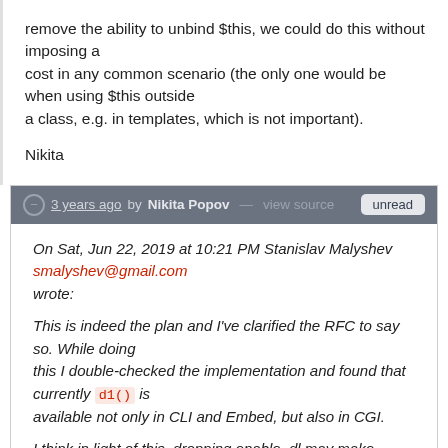remove the ability to unbind $this, we could do this without imposing a cost in any common scenario (the only one would be when using $this outside a class, e.g. in templates, which is not important).
Nikita
3 years ago by Nikita Popov — view source  unread
On Sat, Jun 22, 2019 at 10:21 PM Stanislav Malyshev smalyshev@gmail.com wrote:
This is indeed the plan and I've clarified the RFC to say so. While doing this I double-checked the implementation and found that currently d1() is available not only in CLI and Embed, but also in CGI.
I think in light of this, dropping enable_dl may make